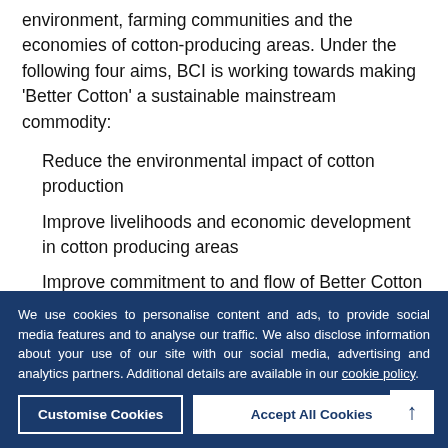environment, farming communities and the economies of cotton-producing areas. Under the following four aims, BCI is working towards making ‘Better Cotton’ a sustainable mainstream commodity:
Reduce the environmental impact of cotton production
Improve livelihoods and economic development in cotton producing areas
Improve commitment to and flow of Better Cotton
We use cookies to personalise content and ads, to provide social media features and to analyse our traffic. We also disclose information about your use of our site with our social media, advertising and analytics partners. Additional details are available in our cookie policy.
Customise Cookies
Accept All Cookies